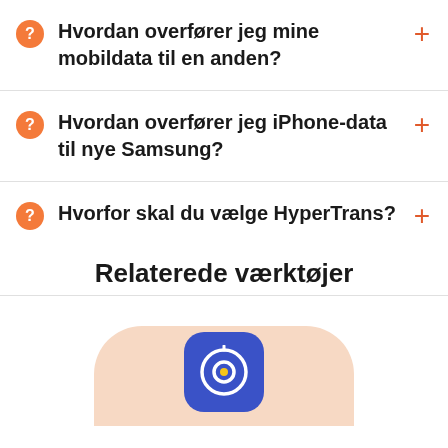Hvordan overfører jeg mine mobildata til en anden?
Hvordan overfører jeg iPhone-data til nye Samsung?
Hvorfor skal du vælge HyperTrans?
Relaterede værktøjer
[Figure (illustration): App icon for a mobile transfer tool shown on a peach-colored rounded rectangle background. The icon is a blue rounded square with a circular play/target symbol in white and yellow.]